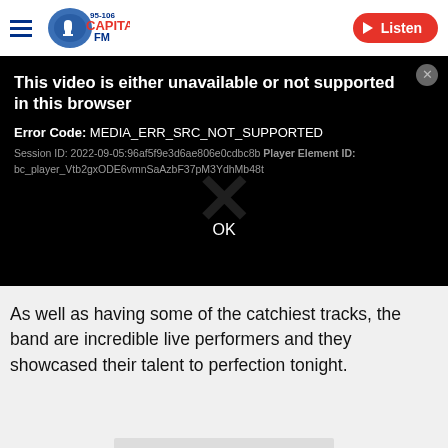Capital FM 95-106 | Listen
[Figure (screenshot): Capital FM logo with microphone graphic and '95-106 CAPITAL FM' text, next to a red 'Listen' button with play icon]
This video is either unavailable or not supported in this browser
Error Code: MEDIA_ERR_SRC_NOT_SUPPORTED
Session ID: 2022-09-05:96af5f9e3d6ae806e0cdbc8b Player Element ID: bc_player_Vtb2gxODE6vmnSaAzbF37pM3YdhMb48t
OK
As well as having some of the catchiest tracks, the band are incredible live performers and they showcased their talent to perfection tonight.